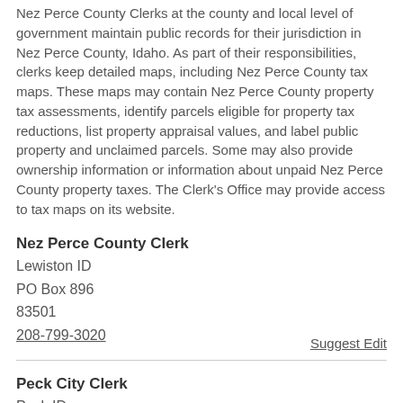Nez Perce County Clerks at the county and local level of government maintain public records for their jurisdiction in Nez Perce County, Idaho. As part of their responsibilities, clerks keep detailed maps, including Nez Perce County tax maps. These maps may contain Nez Perce County property tax assessments, identify parcels eligible for property tax reductions, list property appraisal values, and label public property and unclaimed parcels. Some may also provide ownership information or information about unpaid Nez Perce County property taxes. The Clerk's Office may provide access to tax maps on its website.
Nez Perce County Clerk
Lewiston ID
PO Box 896
83501
208-799-3020
Suggest Edit
Peck City Clerk
Peck ID
120 West Howard Street
83545
208-486-7791
Suggest Edit